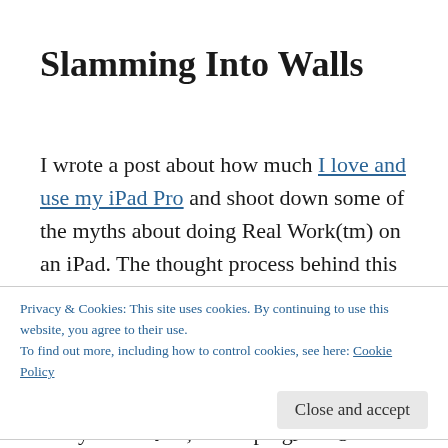Slamming Into Walls
I wrote a post about how much I love and use my iPad Pro and shoot down some of the myths about doing Real Work(tm) on an iPad. The thought process behind this current post, was a long decision made quickly. It was a difficult decision as I spent a lot of time reconciling where I believe the future of computing to lie, and the reality of where computing
Privacy & Cookies: This site uses cookies. By continuing to use this website, you agree to their use.
To find out more, including how to control cookies, see here: Cookie Policy
[Close and accept]
today's solutions; not hoping for tomorrow's¹.